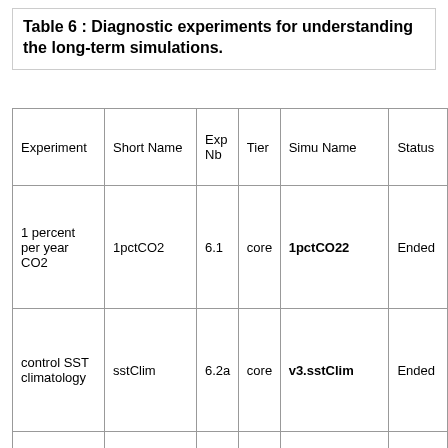Table 6 : Diagnostic experiments for understanding the long-term simulations.
| Experiment | Short Name | Exp Nb | Tier | Simu Name | Status |
| --- | --- | --- | --- | --- | --- |
| 1 percent per year CO2 | 1pctCO2 | 6.1 | core | 1pctCO22 | Ended |
| control SST climatology | sstClim | 6.2a | core | v3.sstClim | Ended |
| CO2 forcing | sstClim4xCO2 | 6.2b | core | v3.sstClim4xCO2 | Ended |